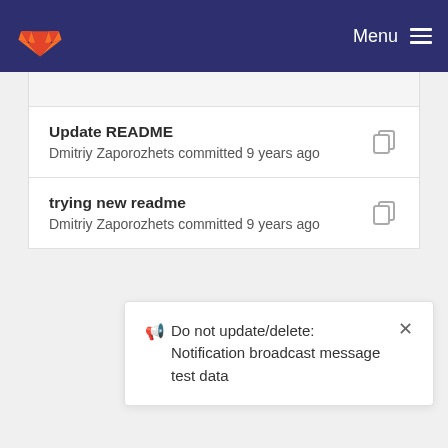Menu
Update README
Dmitriy Zaporozhets committed 9 years ago
trying new readme
Dmitriy Zaporozhets committed 9 years ago
📢 Do not update/delete: Notification broadcast message test data ×